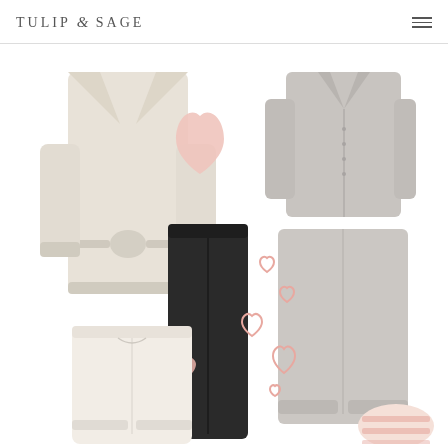TULIP & SAGE
[Figure (photo): Flat lay lifestyle product photo showing cozy loungewear and wellness items on white background: cream/oatmeal knit belted robe (left), rose quartz gua sha tool (center top), gray button-up pajama set top and pants (right), black heart-print leggings (center), cream knit wide-leg pants (bottom left), pink heart illustrations scattered around center, pink striped socks/slippers (bottom right corner).]